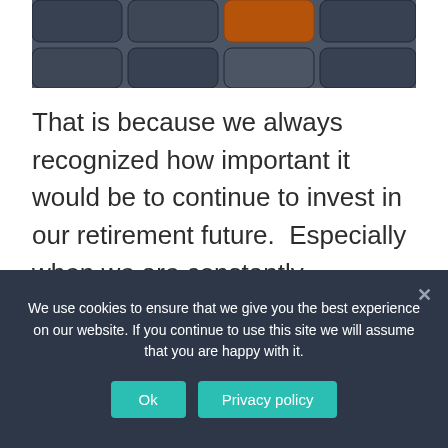[Figure (photo): Close-up photo of keyboard keys in dark gray/charcoal tones with one golden/amber colored key visible among them]
That is because we always recognized how important it would be to continue to invest in our retirement future.  Especially when we are constantly bombarded with the fact that social security is not guaranteed more. However, this is not
We use cookies to ensure that we give you the best experience on our website. If you continue to use this site we will assume that you are happy with it.